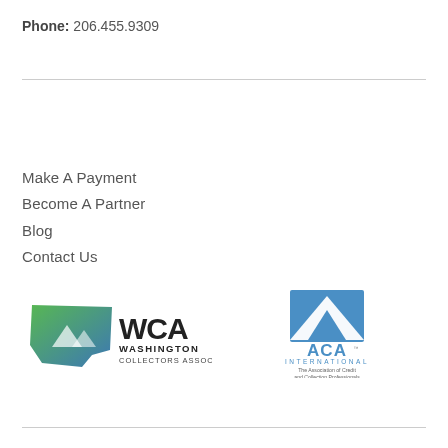Phone: 206.455.9309
Make A Payment
Become A Partner
Blog
Contact Us
[Figure (logo): WCA Washington Collectors Association logo]
[Figure (logo): ACA International - The Association of Credit and Collection Professionals logo]